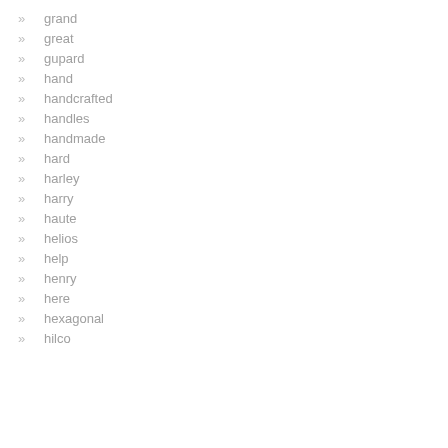grand
great
gupard
hand
handcrafted
handles
handmade
hard
harley
harry
haute
helios
help
henry
here
hexagonal
hilco